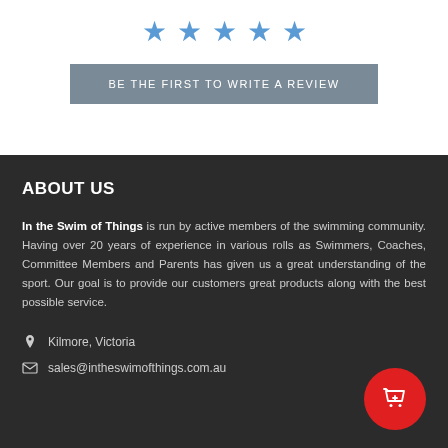[Figure (other): Five blue star rating icons in a row]
BE THE FIRST TO WRITE A REVIEW
ABOUT US
In the Swim of Things is run by active members of the swimming community. Having over 20 years of experience in various rolls as Swimmers, Coaches, Committee Members and Parents has given us a great understanding of the sport. Our goal is to provide our customers great products along with the best possible service.
Kilmore, Victoria
sales@intheswimofthings.com.au